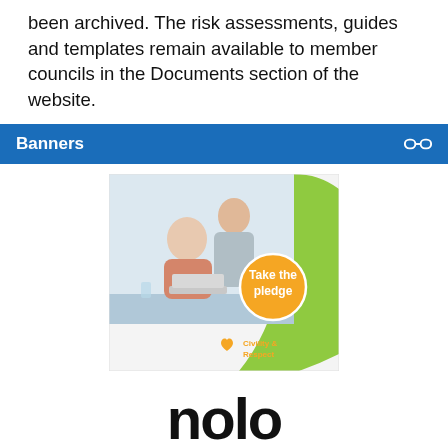been archived. The risk assessments, guides and templates remain available to member councils in the Documents section of the website.
Banners
[Figure (illustration): A banner image showing two women looking at a laptop, with an orange badge overlay reading 'Take the pledge' and a 'Civility & Respect' logo in the lower right corner. A green diagonal stripe decorates the background.]